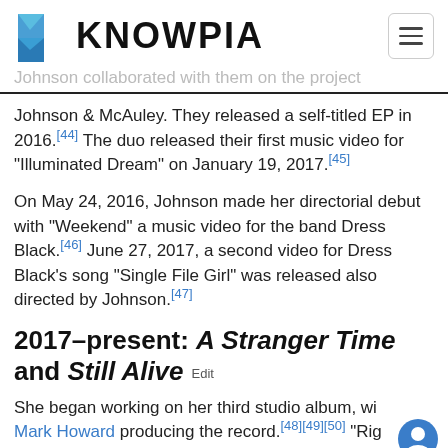KNOWPIA
Johnson collaborated with them on the project
Johnson & McAuley. They released a self-titled EP in 2016.[44] The duo released their first music video for "Illuminated Dream" on January 19, 2017.[45]
On May 24, 2016, Johnson made her directorial debut with "Weekend" a music video for the band Dress Black.[46] June 27, 2017, a second video for Dress Black's song "Single File Girl" was released also directed by Johnson.[47]
2017–present: A Stranger Time and Still Alive  Edit
She began working on her third studio album, with Mark Howard producing the record.[48][49][50] "Right Now" was released as the lead single from her third